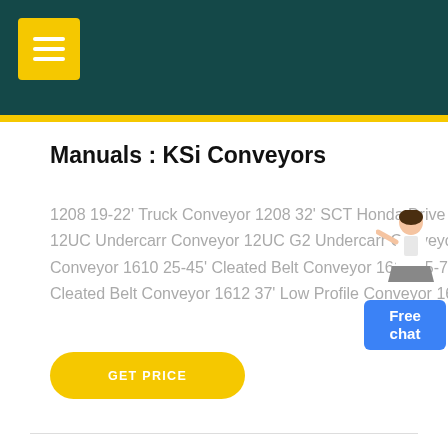Manuals : KSi Conveyors
1208 19-22' Truck Conveyor 1208 32' SCT Honda Drive Conveyor 12UB Underbin Conveyor 12UC Undercarr Conveyor 12UC G2 Undercarr Conveyor: 16 Series: 1610 17-21' Cleated Belt Conveyor 1610 25-45' Cleated Belt Conveyor 1610 55-72' Cleated Belt Conveyor 1610 77'+ Cleated Belt Conveyor 1612 37' Low Profile Conveyor 1612 Swingaway Conveyor